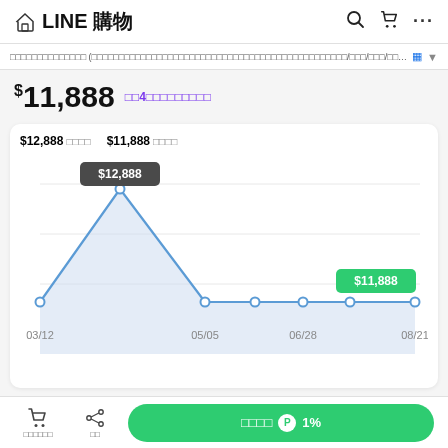LINE 購物
aaaaaaaaaaaaaa (aaaaaaaaaaaaaaaaaaaaaaaaaaaaaaaaaaaaaaaaaaaaaaaaaaaaa/aaa/aaa/aaa/a...
$11,888  □□4□□□□□□□□□
[Figure (line-chart): Price history chart]
$12,888 □□□□   $11,888 □□□□
□□□□□□  □□  □□□□ P 1%